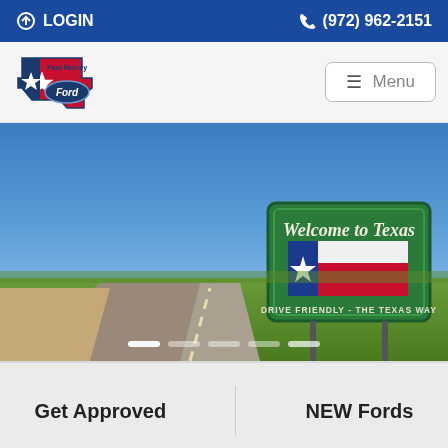LOGIN   (972) 962-2151
[Figure (logo): Paul Murrey Ford dealership logo with Texas state outline, blue Ford oval, star, with red, white, blue colors]
[Figure (screenshot): Menu button (hamburger icon with three lines) labeled Menu]
[Figure (photo): Hero image: Texas highway scene with Welcome to Texas sign reading DRIVE FRIENDLY - THE TEXAS WAY, green road sign with Texas flag, blue sky, green grass, flat road]
Get Approved
NEW Fords